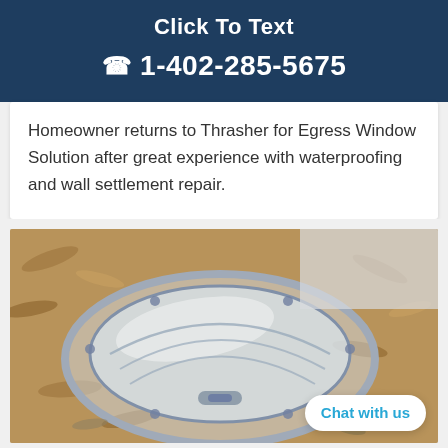Click To Text
1-402-285-5675
Homeowner returns to Thrasher for Egress Window Solution after great experience with waterproofing and wall settlement repair.
[Figure (photo): A clear dome/bubble-shaped egress window cover installed over a basement window well surrounded by wood chip landscaping material.]
Chat with us